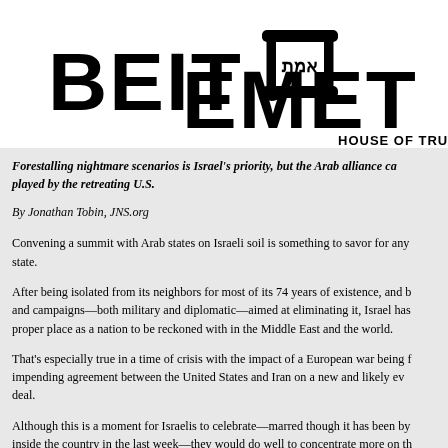[Figure (logo): Beit Emet House of Truth logo with Torah scroll emblem and Hebrew text]
Forestalling nightmare scenarios is Israel's priority, but the Arab alliance can also be played by the retreating U.S.
By Jonathan Tobin, JNS.org
Convening a summit with Arab states on Israeli soil is something to savor for any Israeli state.
After being isolated from its neighbors for most of its 74 years of existence, and both wars and campaigns—both military and diplomatic—aimed at eliminating it, Israel has earned its proper place as a nation to be reckoned with in the Middle East and the world.
That's especially true in a time of crisis with the impact of a European war being felt and impending agreement between the United States and Iran on a new and likely even weaker deal.
Although this is a moment for Israelis to celebrate—marred though it has been by inside the country in the last week—they would do well to concentrate more on th